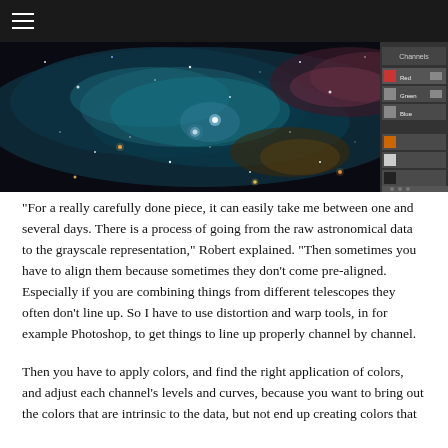[Figure (screenshot): Screenshot of a space/astronomy image being edited in Photoshop. Shows a dark nebula/star field with colorful stars and gas clouds, with Photoshop layers panel visible on the right side.]
“For a really carefully done piece, it can easily take me between one and several days. There is a process of going from the raw astronomical data to the grayscale representation,” Robert explained. “Then sometimes you have to align them because sometimes they don’t come pre-aligned. Especially if you are combining things from different telescopes they often don’t line up. So I have to use distortion and warp tools, in for example Photoshop, to get things to line up properly channel by channel.
Then you have to apply colors, and find the right application of colors, and adjust each channel’s levels and curves, because you want to bring out the colors that are intrinsic to the data, but not end up creating colors that